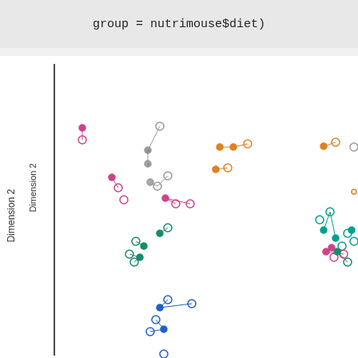group = nutrimouse$diet)
[Figure (scatter-plot): Scatter plot showing multivariate data points grouped by diet type (nutrimouse$diet). Points are connected by short lines indicating paired observations. Multiple colored groups: pink/magenta, gray, orange, teal/green, dark teal, blue, and others. Y-axis labeled 'Dimension 2'. Partial view of chart cropped on right side.]